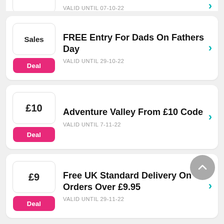VALID UNTIL 07-10-22 (partial, top)
FREE Entry For Dads On Fathers Day — Sales — Deal — VALID UNTIL 29-10-22
Adventure Valley From £10 Code — £10 — Deal — VALID UNTIL 7-11-22
Free UK Standard Delivery On Orders Over £9.95 — £9 — Deal — VALID UNTIL 29-11-22